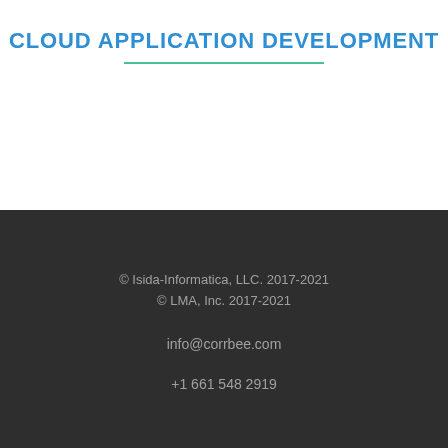CLOUD APPLICATION DEVELOPMENT
© Isida-Informatica, LLC. 2017-2021
© LMA, Inc. 2017-2021
info@corrbee.com
+1 661 548 2919